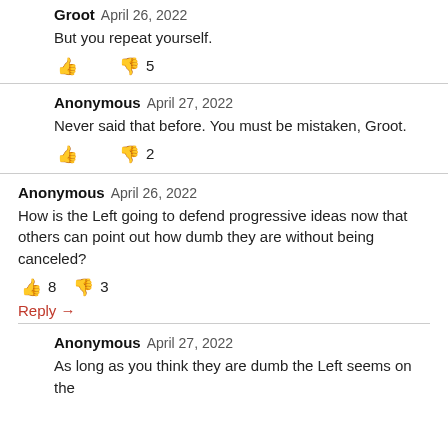Groot April 26, 2022
But you repeat yourself.
👍  👎 5
Anonymous April 27, 2022
Never said that before. You must be mistaken, Groot.
👍  👎 2
Anonymous April 26, 2022
How is the Left going to defend progressive ideas now that others can point out how dumb they are without being canceled?
👍 8  👎 3
Reply →
Anonymous April 27, 2022
As long as you think they are dumb the Left seems on the